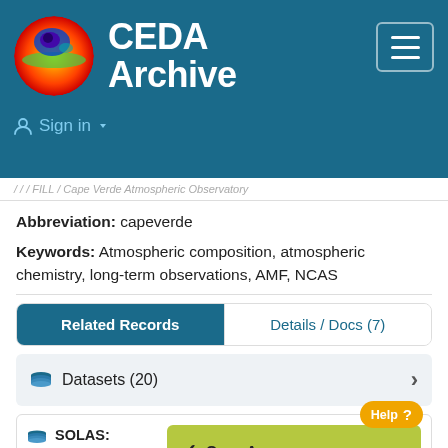[Figure (logo): CEDA Archive logo with globe icon showing atmospheric ozone layer visualization]
CEDA Archive
Sign in
/ / / FILL / Cape Verde Atmospheric Observatory
Abbreviation: capeverde
Keywords: Atmospheric composition, atmospheric chemistry, long-term observations, AMF, NCAS
Related Records
Details / Docs (7)
Datasets (20)
SOLAS: Leeds: J(o1d)
Open Access